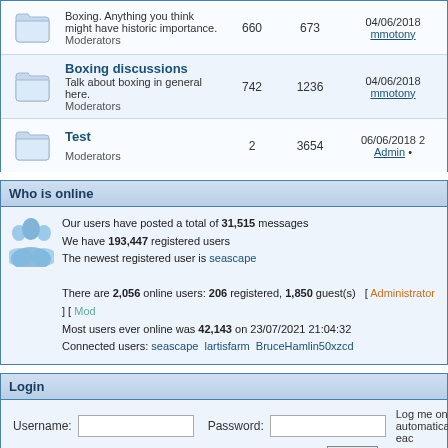|  | Forum | Posts | Topics | Last post |
| --- | --- | --- | --- | --- |
| [icon] | Boxing. Anything you think might have historic importance.
Moderators | 660 | 673 | 04/06/2018
mmotony |
| [icon] | Boxing discussions
Talk about boxing in general here.
Moderators | 742 | 1236 | 04/06/2018
mmotony |
| [icon] | Test
Moderators | 2 | 3654 | 06/06/2018
Admin |
Who is online
Our users have posted a total of 31,515 messages
We have 193,447 registered users
The newest registered user is seascape

There are 2,056 online users: 206 registered, 1,850 guest(s) [ Administrator ] [ Mod
Most users ever online was 42,143 on 23/07/2021 21:04:32
Connected users: seascape  lartisfarm  BruceHamlin50xzcd
Login
Username: [input] Password: [input] Log me on automatically eac [checkbox] [Login button]
New Messages   No new messages   Blocked Forum
Powered by JForum 2.1.8 © JForum Team